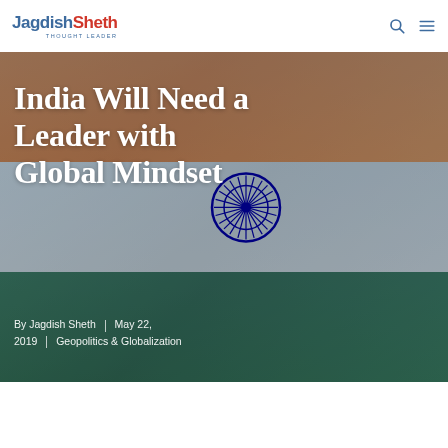Jagdish Sheth | Thought Leader
[Figure (photo): Indian tricolor flag waving against a blue sky, with orange, white, and green stripes and the Ashoka Chakra visible in the center. The image serves as the hero background for the article.]
India Will Need a Leader with Global Mindset
By Jagdish Sheth | May 22, 2019 | Geopolitics & Globalization